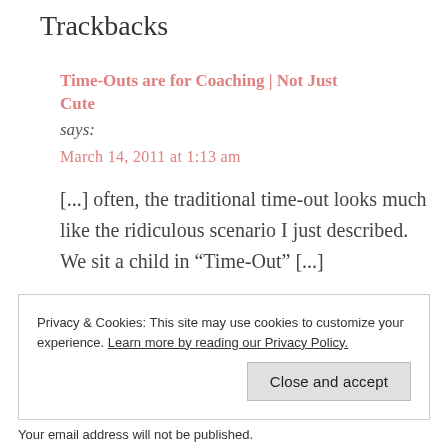Trackbacks
Time-Outs are for Coaching | Not Just Cute says:
March 14, 2011 at 1:13 am
[...] often, the traditional time-out looks much like the ridiculous scenario I just described.  We sit a child in “Time-Out” [...]
Privacy & Cookies: This site may use cookies to customize your experience. Learn more by reading our Privacy Policy.
Close and accept
Your email address will not be published.